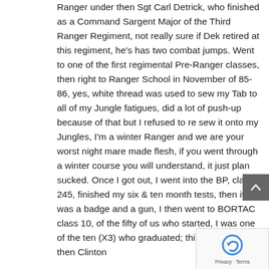Ranger under then Sgt Carl Detrick, who finished as a Command Sargent Major of the Third Ranger Regiment, not really sure if Dek retired at this regiment, he's has two combat jumps. Went to one of the first regimental Pre-Ranger classes, then right to Ranger School in November of 85-86, yes, white thread was used to sew my Tab to all of my Jungle fatigues, did a lot of push-up because of that but I refused to re sew it onto my Jungles, I'm a winter Ranger and we are your worst night mare made flesh, if you went through a winter course you will understand, it just plan sucked. Once I got out, I went into the BP, class 245, finished my six & ten month tests, then it was a badge and a gun, I then went to BORTAC class 10, of the fifty of us who started, I was one of the ten (X3) who graduated; this was in 1994, then Clinton